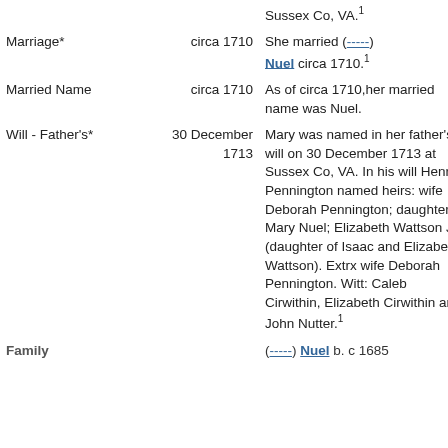| Event | Date | Description |
| --- | --- | --- |
|  |  | Sussex Co, VA.¹ |
| Marriage* | circa 1710 | She married (-----) Nuel circa 1710.¹ |
| Married Name | circa 1710 | As of circa 1710,her married name was Nuel. |
| Will - Father's* | 30 December 1713 | Mary was named in her father's will on 30 December 1713 at Sussex Co, VA. In his will Henry Pennington named heirs: wife Deborah Pennington; daughter Mary Nuel; Elizabeth Wattson Jr. (daughter of Isaac and Elizabeth Wattson). Extrx wife Deborah Pennington. Witt: Caleb Cirwithin, Elizabeth Cirwithin and John Nutter.¹ |
| Family |  | (-----) Nuel b. c 1685 |